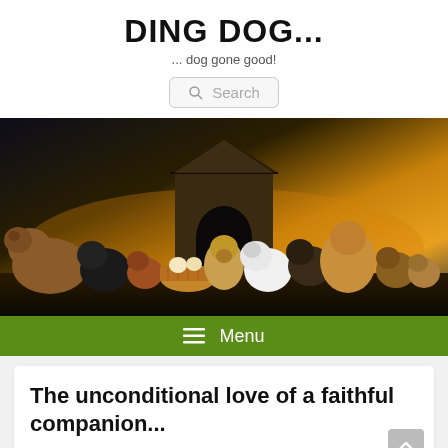DING DOG...
... dog gone good!
[Figure (screenshot): Search box UI element with magnifying glass icon and 'Search' placeholder text]
[Figure (photo): Wide banner photo of many different dog breeds posed in front of a wooden dog house against a dramatic sunset sky]
☰ Menu
The unconditional love of a faithful companion...
Posted on 25/03/2018 by Kristopher Bell — No Comments ↓